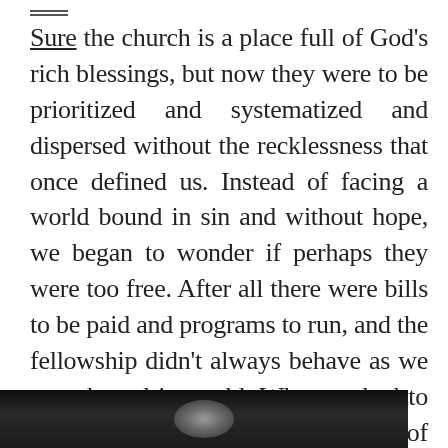Sure the church is a place full of God's rich blessings, but now they were to be prioritized and systematized and dispersed without the recklessness that once defined us. Instead of facing a world bound in sin and without hope, we began to wonder if perhaps they were too free. After all there were bills to be paid and programs to run, and the fellowship didn't always behave as we once hoped it would. What we had to offer, then, wasn't the excess of forgiveness but the order of guidance and responsibility.
[Figure (photo): Dark photograph strip showing a partial portrait, bottom of page]